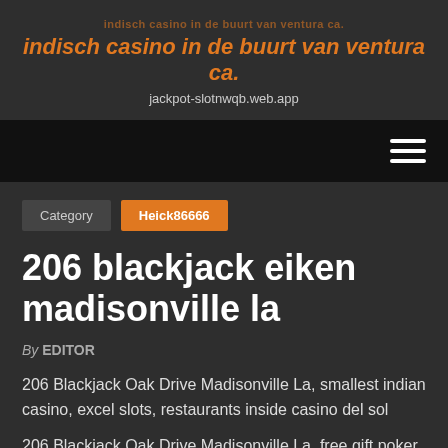indisch casino in de buurt van ventura ca.
jackpot-slotnwqb.web.app
[Figure (other): Navigation bar with hamburger menu icon (three horizontal lines) on dark/black background]
Category   Heick86666
206 blackjack eiken madisonville la
By EDITOR
206 Blackjack Oak Drive Madisonville La, smallest indian casino, excel slots, restaurants inside casino del sol
206 Blackjack Oak Drive Madisonville La, free gift poker